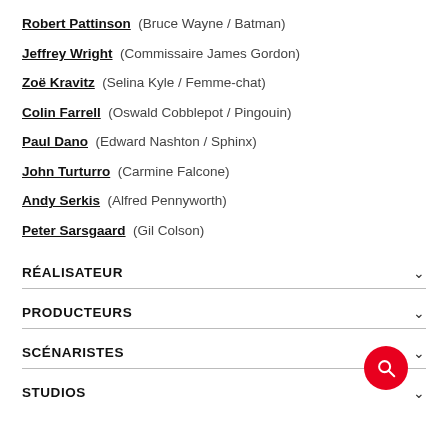Robert Pattinson (Bruce Wayne / Batman)
Jeffrey Wright (Commissaire James Gordon)
Zoë Kravitz (Selina Kyle / Femme-chat)
Colin Farrell (Oswald Cobblepot / Pingouin)
Paul Dano (Edward Nashton / Sphinx)
John Turturro (Carmine Falcone)
Andy Serkis (Alfred Pennyworth)
Peter Sarsgaard (Gil Colson)
RÉALISATEUR
PRODUCTEURS
SCÉNARISTES
STUDIOS